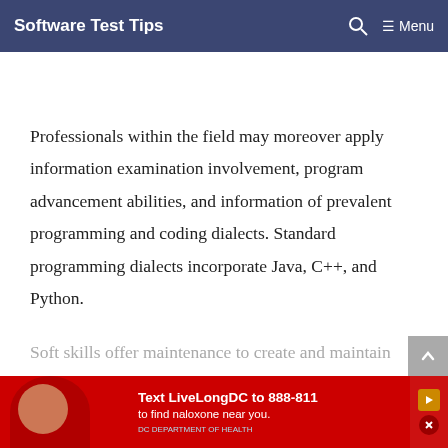Software Test Tips   🔍   ≡ Menu
Professionals within the field may moreover apply information examination involvement, program advancement abilities, and information of prevalent programming and coding dialects. Standard programming dialects incorporate Java, C++, and Python.
Soft skills offer maintenance to create and maintain viab...
[Figure (other): Red advertisement banner: Text LiveLongDC to 888-811 to find naloxone near you. DC Department of Health branding.]